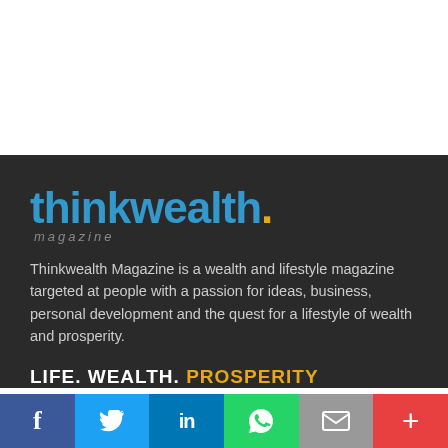[Figure (logo): Thinkwealth Magazine logo with blue text and gold period, with 'magazine' subtitle in grey]
Thinkwealth Magazine is a wealth and lifestyle magazine targeted at people with a passion for ideas, business, personal development and the quest for a lifestyle of wealth and prosperity.
LIFE. WEALTH. PROSPERITY
Recent Posts
[Figure (infographic): Social media share buttons: Facebook (blue), Twitter (light blue), LinkedIn (dark blue), WhatsApp (green), Email (grey), Plus/more (red)]